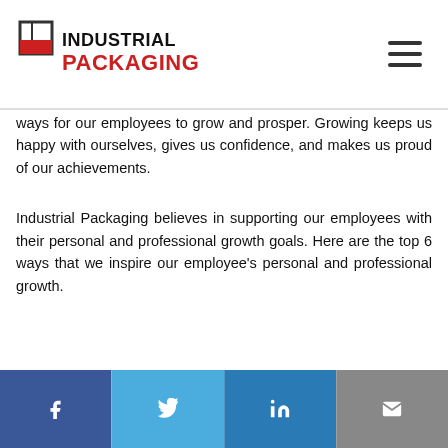INDUSTRIAL PACKAGING
ways for our employees to grow and prosper. Growing keeps us happy with ourselves, gives us confidence, and makes us proud of our achievements.
Industrial Packaging believes in supporting our employees with their personal and professional growth goals. Here are the top 6 ways that we inspire our employee's personal and professional growth.
[Figure (photo): Bottom edge of a building/wall photo, partially visible]
[Figure (infographic): Social share bar with Facebook, Twitter, LinkedIn, and Email buttons]